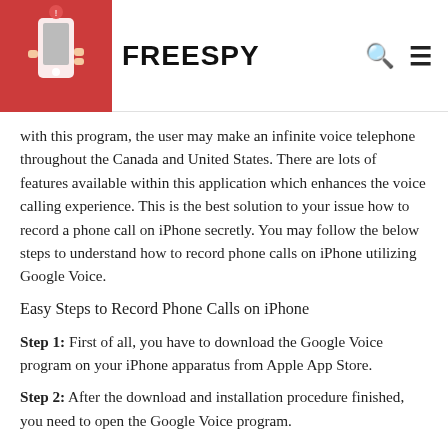FREESPY
with this program, the user may make an infinite voice telephone throughout the Canada and United States. There are lots of features available within this application which enhances the voice calling experience. This is the best solution to your issue how to record a phone call on iPhone secretly. You may follow the below steps to understand how to record phone calls on iPhone utilizing Google Voice.
Easy Steps to Record Phone Calls on iPhone
Step 1: First of all, you have to download the Google Voice program on your iPhone apparatus from Apple App Store.
Step 2: After the download and installation procedure finished, you need to open the Google Voice program.